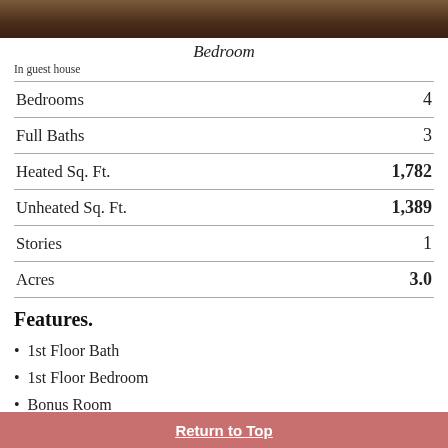[Figure (photo): Top portion of a bedroom photo in guest house]
Bedroom
In guest house
| Feature | Value |
| --- | --- |
| Bedrooms | 4 |
| Full Baths | 3 |
| Heated Sq. Ft. | 1,782 |
| Unheated Sq. Ft. | 1,389 |
| Stories | 1 |
| Acres | 3.0 |
Features.
1st Floor Bath
1st Floor Bedroom
Bonus Room
Den
Dining room
Finished Basement
Kitchen
Laundry Room
Return to Top